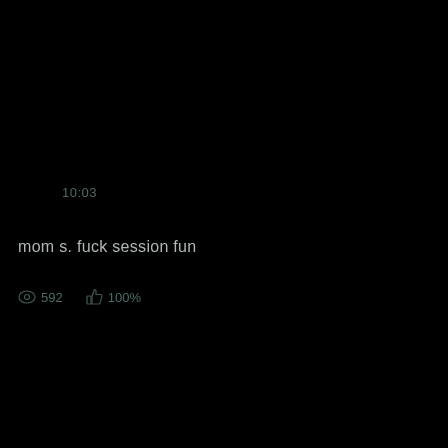10:03
mom s. fuck session fun
592  100%